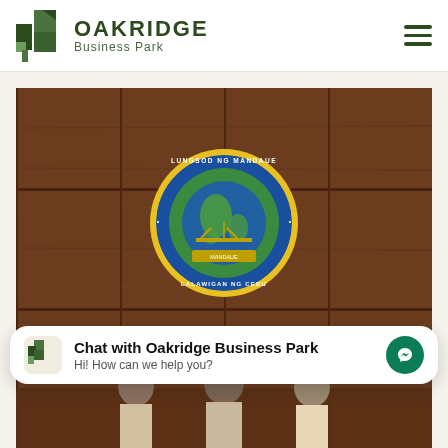[Figure (logo): Oakridge Business Park logo with green icon and text]
[Figure (photo): Photo showing Mandaue City official seal on wooden paneled wall, with people partially visible at the bottom]
Chat with Oakridge Business Park
Hi! How can we help you?